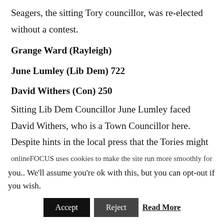Seagers, the sitting Tory councillor, was re-elected without a contest.
Grange Ward (Rayleigh)
June Lumley (Lib Dem) 722
David Withers (Con) 250
Sitting Lib Dem Councillor June Lumley faced David Withers, who is a Town Councillor here. Despite hints in the local press that the Tories might win this seat, they were hammered. Another great result for the
onlineFOCUS uses cookies to make the site run more smoothly for you.. We'll assume you're ok with this, but you can opt-out if you wish.
Accept   Reject   Read More